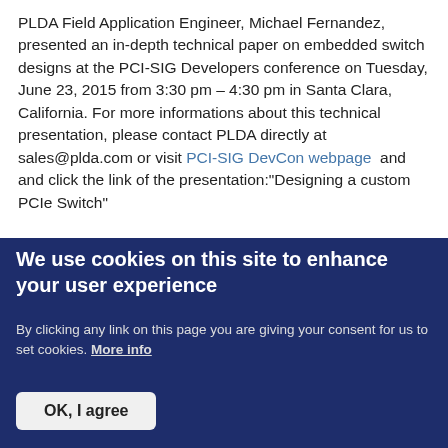PLDA Field Application Engineer, Michael Fernandez, presented an in-depth technical paper on embedded switch designs at the PCI-SIG Developers conference on Tuesday, June 23, 2015 from 3:30 pm – 4:30 pm in Santa Clara, California. For more informations about this technical presentation, please contact PLDA directly at sales@plda.com or visit PCI-SIG DevCon webpage  and and click the link of the presentation:"Designing a custom PCIe Switch"
Visit PLDA products page
About PLDA
PLDA has been successfully delivering PCI and PCI Express IP for
We use cookies on this site to enhance your user experience
By clicking any link on this page you are giving your consent for us to set cookies. More info
OK, I agree